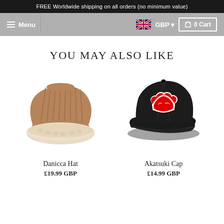FREE Worldwide shipping on all orders (no minimum value)
Menu  GBP  0 Cart
YOU MAY ALSO LIKE
[Figure (photo): Tan/brown corduroy bucket hat with cream sherpa fleece lining visible at the brim, product photo on white background]
Danicca Hat
£19.99 GBP
[Figure (photo): Black baseball cap with red cloud Akatsuki embroidery patch on the front, product photo on white background]
Akatsuki Cap
£14.99 GBP